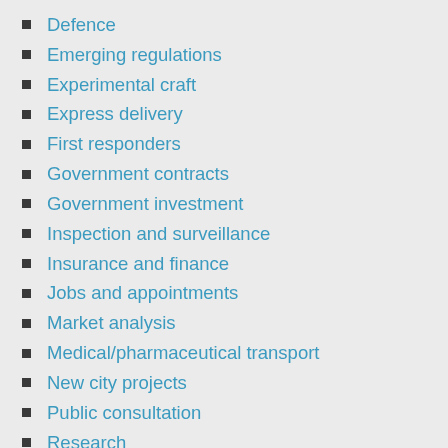Defence
Emerging regulations
Experimental craft
Express delivery
First responders
Government contracts
Government investment
Inspection and surveillance
Insurance and finance
Jobs and appointments
Market analysis
Medical/pharmaceutical transport
New city projects
Public consultation
Research